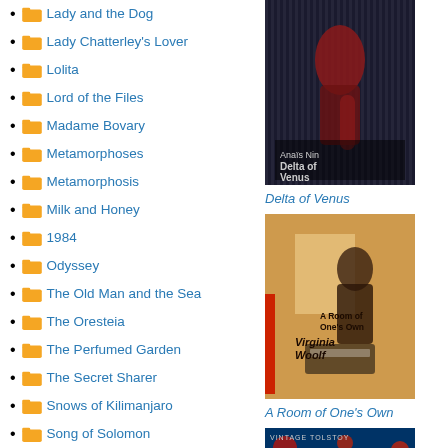Lady and the Dog
Lady Chatterley's Lover
Lolita
Lord of the Files
Madame Bovary
Metamorphoses
Metamorphosis
Milk and Honey
1984
Odyssey
The Old Man and the Sea
The Oresteia
The Perfumed Garden
The Secret Sharer
Snows of Kilimanjaro
Song of Solomon
Story of O
[Figure (photo): Book cover of Delta of Venus by Anais Nin - dark atmospheric cover]
Delta of Venus
[Figure (photo): Book cover of A Room of One's Own by Virginia Woolf - warm toned cover with silhouette]
A Room of One's Own
[Figure (photo): Book cover - Vintage Tolstoy, blue cover with red design]